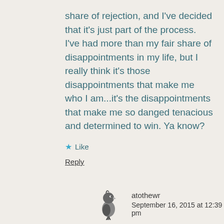share of rejection, and I've decided that it's just part of the process. I've had more than my fair share of disappointments in my life, but I really think it's those disappointments that make me who I am...it's the disappointments that make me so danged tenacious and determined to win. Ya know?
★ Like
Reply
[Figure (illustration): Small black and white illustration of a bird (jay or similar) perched on a branch]
atothewr
September 16, 2015 at 12:39 pm